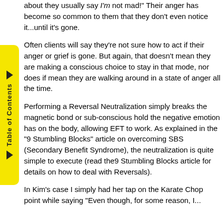about they usually say 'I'm not mad!' Their anger has become so common to them that they don't even notice it...until it's gone.
Often clients will say they're not sure how to act if their anger or grief is gone. But again, that doesn't mean they are making a conscious choice to stay in that mode, nor does if mean they are walking around in a state of anger all the time.
Performing a Reversal Neutralization simply breaks the magnetic bond or sub-conscious hold the negative emotion has on the body, allowing EFT to work. As explained in the "9 Stumbling Blocks" article on overcoming SBS (Secondary Benefit Syndrome), the neutralization is quite simple to execute (read the9 Stumbling Blocks article for details on how to deal with Reversals).
In Kim's case I simply had her tap on the Karate Chop point while saying "Even though, for some reason, I...